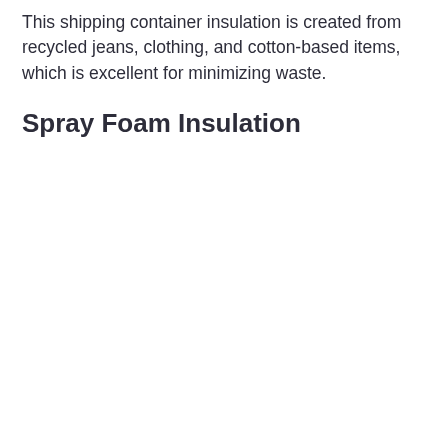This shipping container insulation is created from recycled jeans, clothing, and cotton-based items, which is excellent for minimizing waste.
Spray Foam Insulation